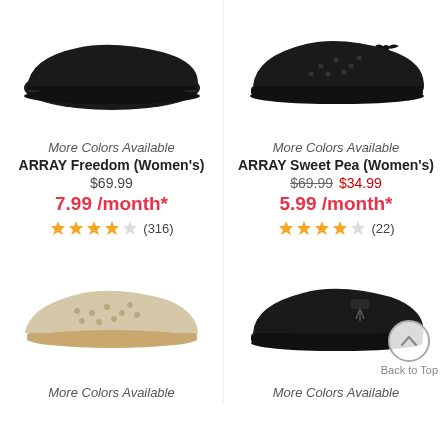[Figure (photo): Black loafer flat shoe - ARRAY Freedom Women's]
More Colors Available
ARRAY Freedom (Women's)
$69.99
7.99 /month*
(316)
[Figure (photo): Black perforated flat shoe with bow - ARRAY Sweet Pea Women's]
More Colors Available
ARRAY Sweet Pea (Women's)
$69.99 $34.99
5.99 /month*
(22)
[Figure (photo): Cream/beige perforated flat shoe]
More Colors Available
[Figure (photo): Black loafer flat shoe with tassel detail]
More Colors Available